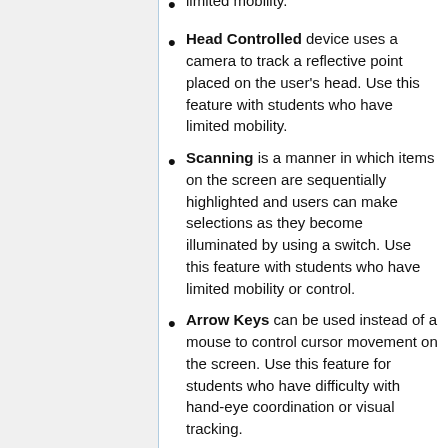limited mobility.
Head Controlled device uses a camera to track a reflective point placed on the user's head. Use this feature with students who have limited mobility.
Scanning is a manner in which items on the screen are sequentially highlighted and users can make selections as they become illuminated by using a switch. Use this feature with students who have limited mobility or control.
Arrow Keys can be used instead of a mouse to control cursor movement on the screen. Use this feature for students who have difficulty with hand-eye coordination or visual tracking.
Switches are devices that are used